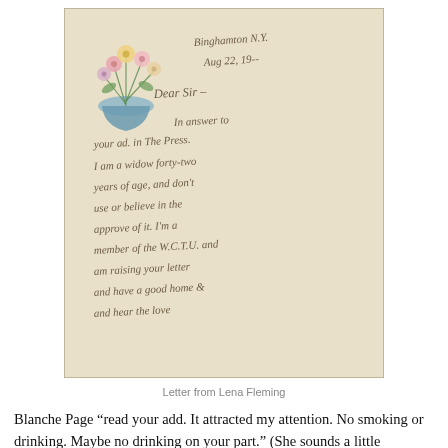[Figure (photo): A photograph of a handwritten letter on aged paper decorated with a floral bouquet illustration in the upper left corner. The letter is addressed 'Dear Sir' and appears to be from Binghamton, dated Aug 22. The handwriting discusses responding to an advertisement and mentions being a widow.]
Letter from Lena Fleming
Blanche Page “read your add. It attracted my attention. No smoking or drinking. Maybe no drinking on your part.” (She sounds a little suspicious.) “I used to play the Piano,